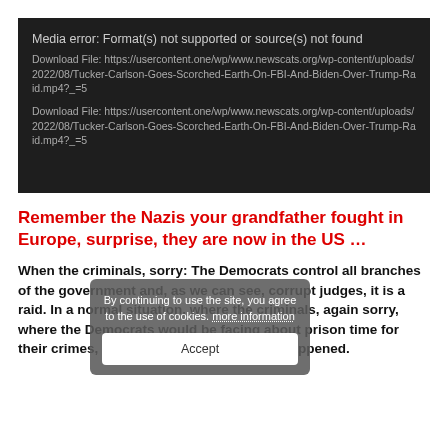[Figure (screenshot): Dark background media player error box showing 'Media error: Format(s) not supported or source(s) not found' with two download file URL lines for a Tucker-Carlson mp4 video file.]
Remember the Nazis your grandfather fought in Europe, surprise, they are now in the US …
When the criminals, sorry: The Democrats control all branches of the government and, as we can see, corrupt judges, it is a raid. In a normal situation, where the criminals, again sorry, where the Democrats would be facing about prison time for their crimes, the raid wouldn't even have happened.